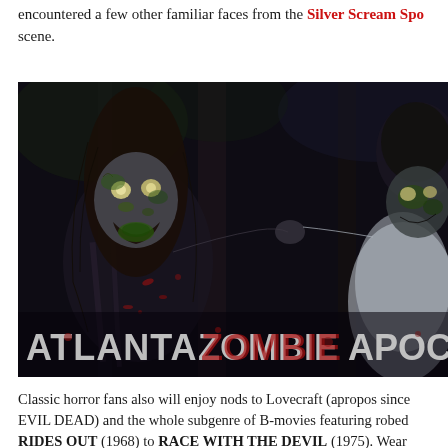encountered a few other familiar faces from the Silver Scream Spo scene.
[Figure (photo): A horror promotional image showing two zombie characters in a dark forest setting, with the text 'ATLANTA ZOMBIE APOCALY' overlaid at the bottom in a bloody horror font style.]
Classic horror fans also will enjoy nods to Lovecraft (apropos since EVIL DEAD) and the whole subgenre of B-movies featuring robed RIDES OUT (1968) to RACE WITH THE DEVIL (1975). Wear